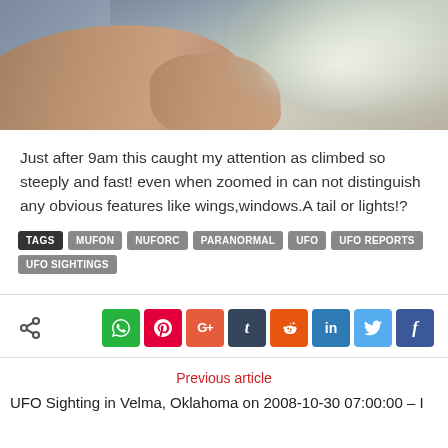[Figure (photo): Close-up photo of a person's arm and hand resting on a surface, with misty/smoky background and blue t-shirt visible]
Just after 9am this caught my attention as climbed so steeply and fast! even when zoomed in can not distinguish any obvious features like wings,windows.A tail or lights!?
TAGS  MUFON  NUFORC  PARANORMAL  UFO  UFO REPORTS  UFO SIGHTINGS
Previous article
UFO Sighting in Velma, Oklahoma on 2008-10-30 07:00:00 – I